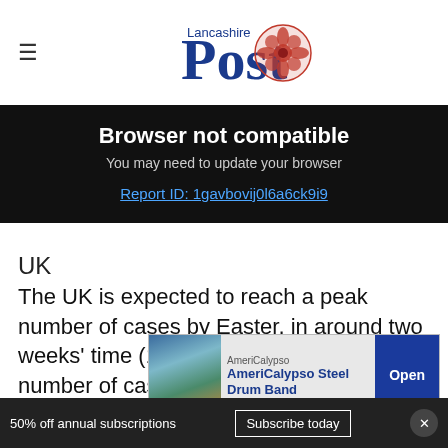Lancashire Post
Browser not compatible
You may need to update your browser
Report ID: 1gavbovij0l6a6ck9i9
UK
The UK is expected to reach a peak number of cases by Easter, in around two weeks' time (12 April), after which the number of cases should start to decline.
[Figure (other): AmeriCalypso advertisement banner with image, text 'AmeriCalypso Steel Drum Band' and Open button]
Experts who are studying the spread of the vi...
50% off annual subscriptions  Subscribe today  ×